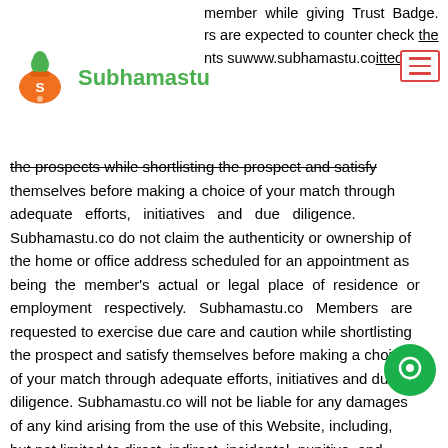Subhamastu.co member while giving Trust Badge. Members are expected to counter check the documents suwww.subhamastu.coitted by
[Figure (logo): Subhamastu logo with orange pot and green leaf icon, text 'Subhamastu' in green]
the prospects while shortlisting the prospect and satisfy themselves before making a choice of your match through adequate efforts, initiatives and due diligence. Subhamastu.co do not claim the authenticity or ownership of the home or office address scheduled for an appointment as being the member's actual or legal place of residence or employment respectively. Subhamastu.co Members are requested to exercise due care and caution while shortlisting the prospect and satisfy themselves before making a choice of your match through adequate efforts, initiatives and due diligence. Subhamastu.co will not be liable for any damages of any kind arising from the use of this Website, including, but not limited to direct, indirect, incidental, punitive, and consequential damages.
Using/availing of third party services namely horoscope matching services etc. and for paying them through the